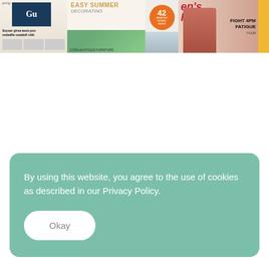[Figure (photo): A horizontal banner showing cropped magazine covers including The Guardian newspaper, an Easy Summer Decorating homes magazine, a magazine with '42 Amazing Homes' orange circle badge, and Women's Health magazine with a woman in red on the cover. A yellow bar appears on the far right.]
By using this website, you agree to the use of cookies as described in our Privacy Policy.
Okay